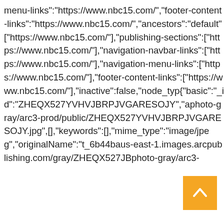menu-links":"https://www.nbc15.com/","footer-content-links":"https://www.nbc15.com/","ancestors":"default":["https://www.nbc15.com/"],"publishing-sections":["https://www.nbc15.com/"],"navigation-navbar-links":["https://www.nbc15.com/"],"navigation-menu-links":["https://www.nbc15.com/"],"footer-content-links":["https://www.nbc15.com/"],"inactive":false,"node_type":{"basic":"_id":"ZHEQX527YVHVJBRPJVGARESOJY","a...photo-gray/arc3-prod/public/ZHEQX527YVHVJBRPJVGARESOJY.jpg",...[],"keywords":[],"mime_type":"image/jpeg","originalName":"t_6b44ba...us-east-1.images.arcpublishing.com/gray/ZHEQX527...JB...photo-gray/arc3-